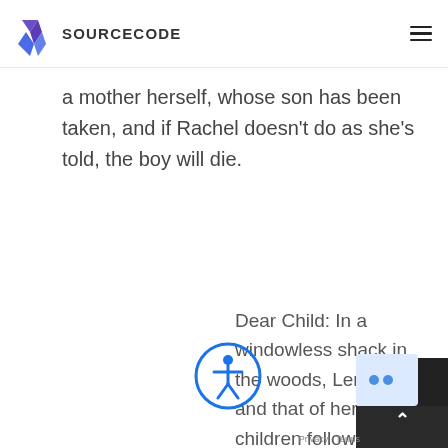SOURCECODE
a mother herself, whose son has been taken, and if Rachel doesn't do as she's told, the boy will die.
Dear Child: In a windowless shack in the woods, Lena's life and that of her two children follows